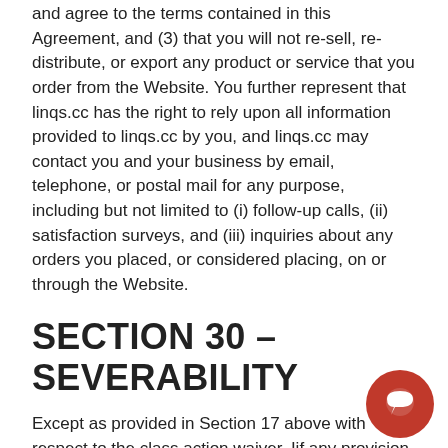and agree to the terms contained in this Agreement, and (3) that you will not re-sell, re-distribute, or export any product or service that you order from the Website. You further represent that linqs.cc has the right to rely upon all information provided to linqs.cc by you, and linqs.cc may contact you and your business by email, telephone, or postal mail for any purpose, including but not limited to (i) follow-up calls, (ii) satisfaction surveys, and (iii) inquiries about any orders you placed, or considered placing, on or through the Website.
SECTION 30 – SEVERABILITY
Except as provided in Section 17 above with respect to the class action waiver, Iif any provision of this Agreement is found by the arbitrator or (if proper) a court of competent jurisdiction to be invalid or unenforceable, the remaining provisions shall not be affected thereby and shall continue in full force and effect and such provision may be modified or severed from this Agreement to the extent necessary to